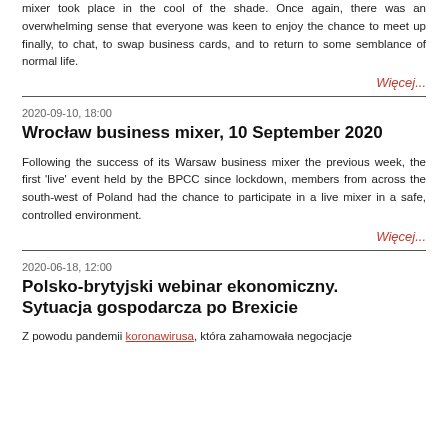mixer took place in the cool of the shade. Once again, there was an overwhelming sense that everyone was keen to enjoy the chance to meet up finally, to chat, to swap business cards, and to return to some semblance of normal life.
Więcej...
2020-09-10, 18:00
Wrocław business mixer, 10 September 2020
Following the success of its Warsaw business mixer the previous week, the first 'live' event held by the BPCC since lockdown, members from across the south-west of Poland had the chance to participate in a live mixer in a safe, controlled environment.
Więcej...
2020-06-18, 12:00
Polsko-brytyjski webinar ekonomiczny. Sytuacja gospodarcza po Brexicie
Z powodu pandemii koronawirusa, która zahamowała negocjacje